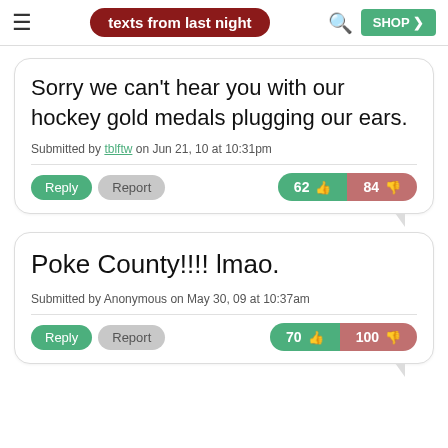texts from last night
Sorry we can't hear you with our hockey gold medals plugging our ears.
Submitted by tblftw on Jun 21, 10 at 10:31pm
Reply | Report | 62 👍 | 84 👎
Poke County!!!! lmao.
Submitted by Anonymous on May 30, 09 at 10:37am
Reply | Report | 70 👍 | 100 👎